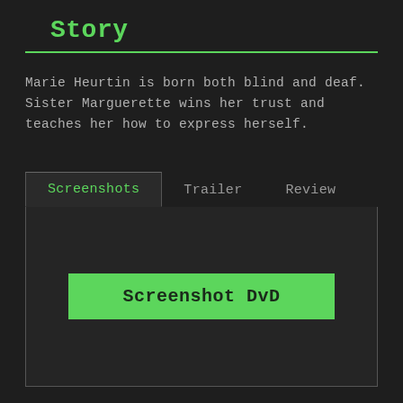Story
Marie Heurtin is born both blind and deaf. Sister Marguerette wins her trust and teaches her how to express herself.
[Figure (screenshot): A tabbed UI interface with tabs labeled Screenshots (active/selected), Trailer, and Review. Below the tabs is a dark panel containing a green button labeled 'Screenshot DvD'.]